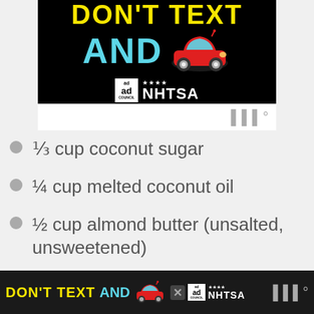[Figure (infographic): NHTSA 'Don't Text and Drive' ad banner with yellow text 'DON'T TEXT', cyan 'AND', red car emoji, Ad Council and NHTSA logos on black background]
[Figure (infographic): Weather widget bar with weather icon on white background]
⅓ cup coconut sugar
¼ cup melted coconut oil
½ cup almond butter (unsalted, unsweetened)
2 large eggs
1 tsp vanilla extract
[Figure (infographic): Bottom ad bar: NHTSA 'Don't Text and Drive' advertisement with yellow/cyan text, red car emoji, Ad Council and NHTSA logos, close button, weather widget icon]